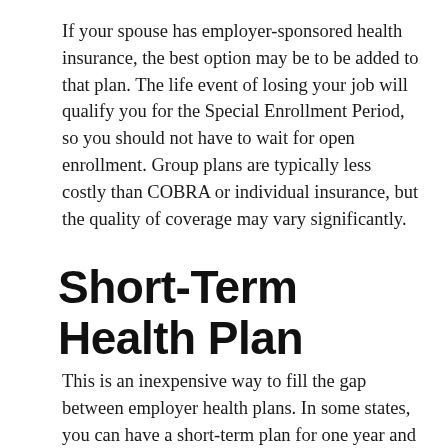If your spouse has employer-sponsored health insurance, the best option may be to be added to that plan. The life event of losing your job will qualify you for the Special Enrollment Period, so you should not have to wait for open enrollment. Group plans are typically less costly than COBRA or individual insurance, but the quality of coverage may vary significantly.
Short-Term Health Plan
This is an inexpensive way to fill the gap between employer health plans. In some states, you can have a short-term plan for one year and extend it twice...